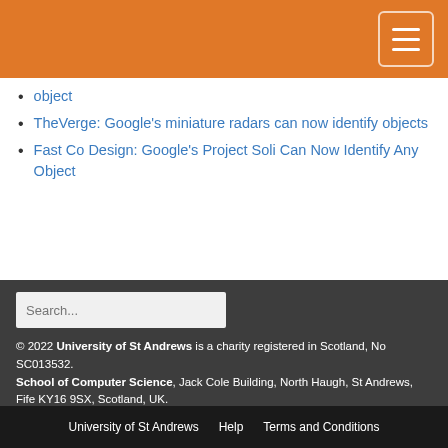object
TheVerge: Google's miniature radars can now identify objects
Fast Co Design: Google's Project Soli Can Now Identify Any Object
Search...
© 2022 University of St Andrews is a charity registered in Scotland, No SC013532. School of Computer Science, Jack Cole Building, North Haugh, St Andrews, Fife KY16 9SX, Scotland, UK. Telephone: +44 (0)1334 463253, Email: admin-cs@st-andrews.ac.uk
University of St Andrews  Help  Terms and Conditions